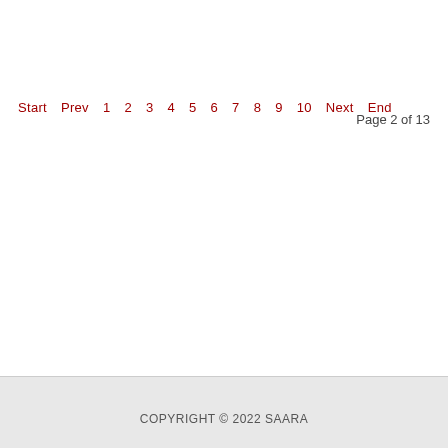Start  Prev  1  2  3  4  5  6  7  8  9  10  Next  End  Page 2 of 13
COPYRIGHT © 2022 SAARA